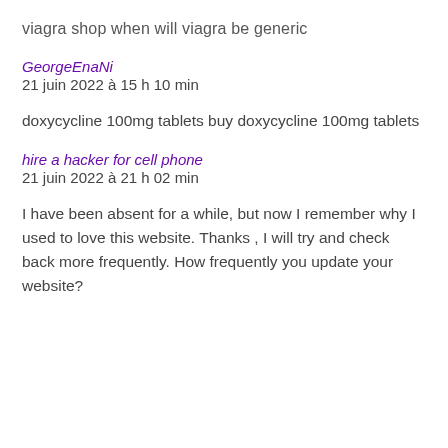viagra shop when will viagra be generic
GeorgeEnaNi
21 juin 2022 à 15 h 10 min
doxycycline 100mg tablets buy doxycycline 100mg tablets
hire a hacker for cell phone
21 juin 2022 à 21 h 02 min
I have been absent for a while, but now I remember why I used to love this website. Thanks , I will try and check back more frequently. How frequently you update your website?